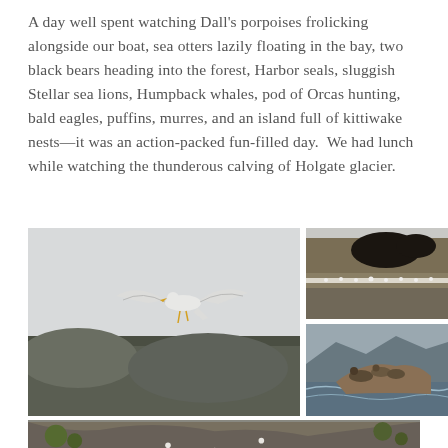A day well spent watching Dall's porpoises frolicking alongside our boat, sea otters lazily floating in the bay, two black bears heading into the forest, Harbor seals, sluggish Stellar sea lions, Humpback whales, pod of Orcas hunting, bald eagles, puffins, murres, and an island full of kittiwake nests—it was an action-packed fun-filled day.  We had lunch while watching the thunderous calving of Holgate glacier.
[Figure (photo): Large photo of a seagull in flight with wings spread, over a rocky forested coastline, overcast sky]
[Figure (photo): Rocky cliff face with seabirds (kittiwakes) nesting on ledges]
[Figure (photo): Rocky outcrop in the ocean with sea lions resting on it, waves visible]
[Figure (photo): Close-up of rocky shore with birds and green vegetation, partially visible at bottom]